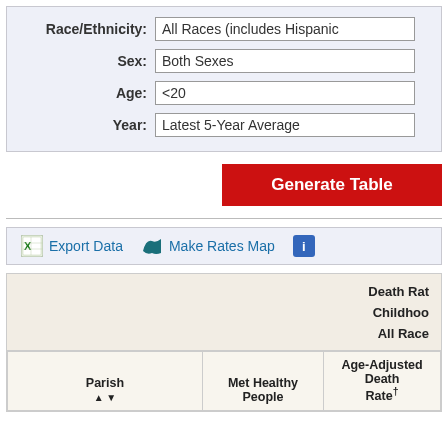| Race/Ethnicity: | All Races (includes Hispanic |
| Sex: | Both Sexes |
| Age: | <20 |
| Year: | Latest 5-Year Average |
Generate Table
Export Data   Make Rates Map
| Parish | Met Healthy People | Age-Adjusted Death Rate† |
| --- | --- | --- |